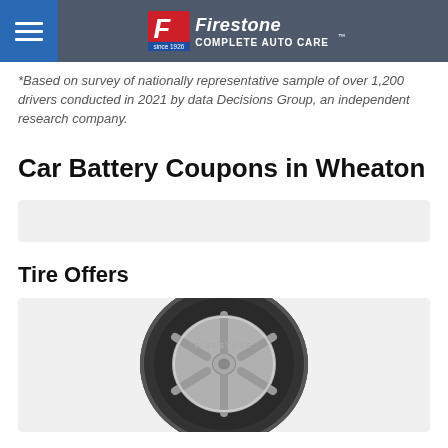Firestone Complete Auto Care
*Based on survey of nationally representative sample of over 1,200 drivers conducted in 2021 by data Decisions Group, an independent research company.
Car Battery Coupons in Wheaton
[Figure (other): Gray placeholder bar for coupon/filter UI]
Tire Offers
[Figure (photo): Firestone branded tire on a vehicle wheel, silver alloy rim, viewed from the front at a slight angle]